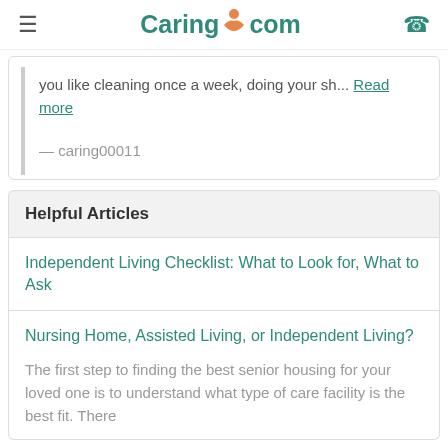Caring.com
you like cleaning once a week, doing your sh... Read more
— caring00011
Helpful Articles
Independent Living Checklist: What to Look for, What to Ask
Nursing Home, Assisted Living, or Independent Living?
The first step to finding the best senior housing for your loved one is to understand what type of care facility is the best fit. There